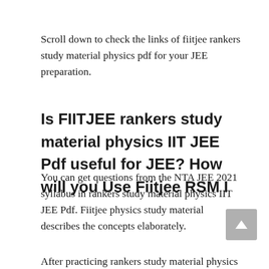Scroll down to check the links of fiitjee rankers study material physics pdf for your JEE preparation.
Is FIITJEE rankers study material physics IIT JEE Pdf useful for JEE? How will you Use Fiitjee RSM I
You can get questions from the NTA JEE 2021 syllabus in rankers study material physics IIT JEE Pdf. Fiitjee physics study material describes the concepts elaborately.
After practicing rankers study material physics in...